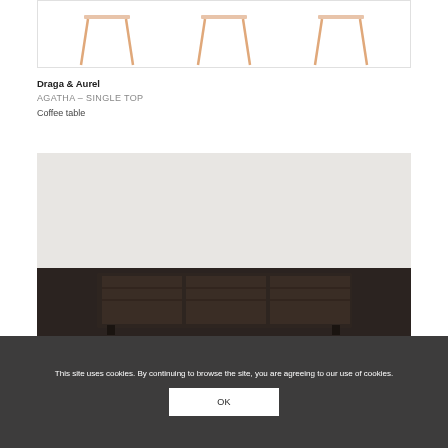[Figure (photo): Three chair frames with rose gold/copper colored metal legs shown in a white product image box, cropped at top]
Draga & Aurel
AGATHA – SINGLE TOP
Coffee table
[Figure (photo): Large product photo showing furniture (sideboard/credenza) with dark wood finish, partially visible, light grey background]
This site uses cookies. By continuing to browse the site, you are agreeing to our use of cookies.
OK